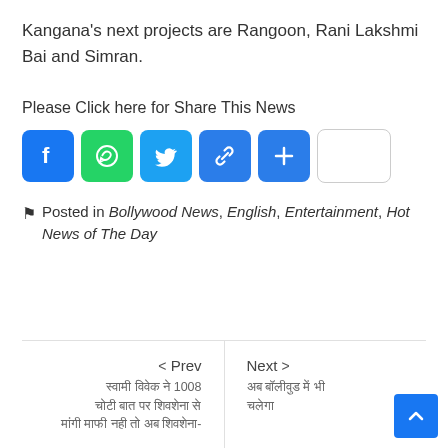Kangana's next projects are Rangoon, Rani Lakshmi Bai and Simran.
Please Click here for Share This News
[Figure (infographic): Social share buttons: Facebook, WhatsApp, Twitter, Link, Plus, and an empty button]
Posted in Bollywood News, English, Entertainment, Hot News of The Day
< Prev — Hindi text navigation link
Next > — Hindi text navigation link